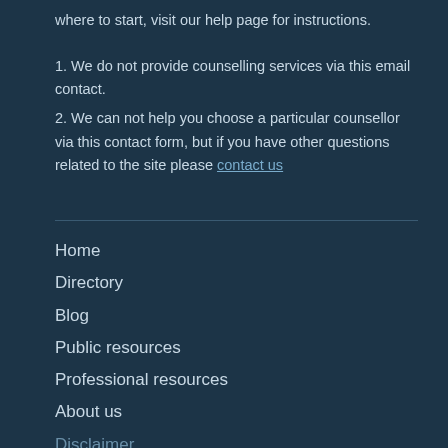where to start, visit our help page for instructions.
1. We do not provide counselling services via this email contact.
2. We can not help you choose a particular counsellor via this contact form, but if you have other questions related to the site please contact us
Home
Directory
Blog
Public resources
Professional resources
About us
Disclaimer